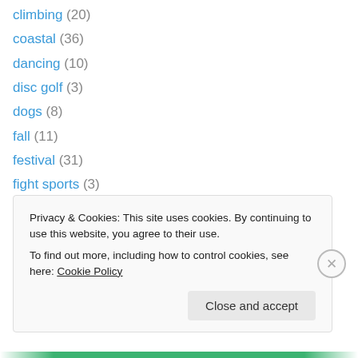climbing (20)
coastal (36)
dancing (10)
disc golf (3)
dogs (8)
fall (11)
festival (31)
fight sports (3)
fishing (17)
fitness (25)
florida (5)
food (33)
geocaching (3)
Privacy & Cookies: This site uses cookies. By continuing to use this website, you agree to their use. To find out more, including how to control cookies, see here: Cookie Policy
Close and accept